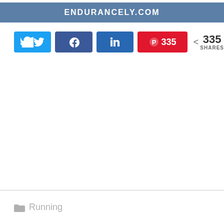ENDURANCELY.COM
[Figure (screenshot): Social share buttons row: Twitter (bird icon), Facebook (f icon), LinkedIn (in icon), Pinterest (P icon with count 335), and total share count 335 SHARES]
Running